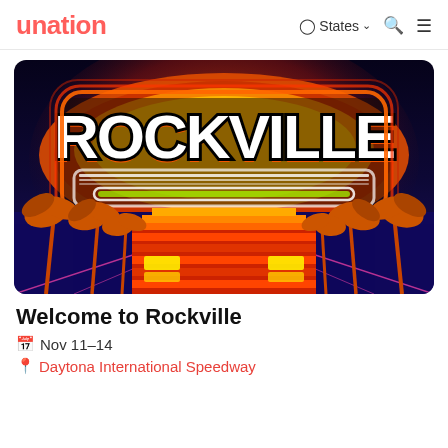unation  States  🔍  ≡
[Figure (illustration): Rockville music festival promotional poster with retro/synthwave style. Dark navy background with orange and yellow neon glow effects. Large stylized 'Rockville' text in white with black outline and flame/glow effect in orange, red, yellow. Below the logo is a neon-lit stage/building with horizontal lines in orange, red, and yellow. Orange palm trees silhouetted on left and right sides. Pink/magenta diagonal road lines at bottom.]
Welcome to Rockville
📅 Nov 11–14
📍 Daytona International Speedway